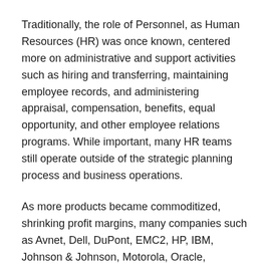Traditionally, the role of Personnel, as Human Resources (HR) was once known, centered more on administrative and support activities such as hiring and transferring, maintaining employee records, and administering appraisal, compensation, benefits, equal opportunity, and other employee relations programs. While important, many HR teams still operate outside of the strategic planning process and business operations.
As more products became commoditized, shrinking profit margins, many companies such as Avnet, Dell, DuPont, EMC2, HP, IBM, Johnson & Johnson, Motorola, Oracle, Siemens, Xerox and others, began offering fee-based services and client solutions for growth and higher profits. Working with these and other clients, The INSIGHT